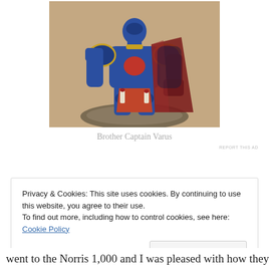[Figure (photo): Painted Warhammer 40K Space Marine miniature figure named Brother Captain Varus, wearing blue power armor with gold trim, red cloth, and a dark cape, standing on a rocky base.]
Brother Captain Varus
REPORT THIS AD
Privacy & Cookies: This site uses cookies. By continuing to use this website, you agree to their use.
To find out more, including how to control cookies, see here: Cookie Policy
Close and accept
went to the Norris 1,000 and I was pleased with how they